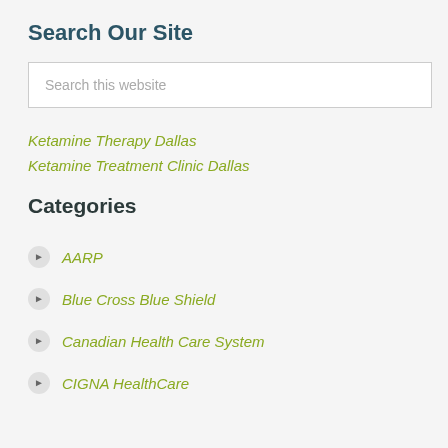Search Our Site
Search this website
Ketamine Therapy Dallas
Ketamine Treatment Clinic Dallas
Categories
AARP
Blue Cross Blue Shield
Canadian Health Care System
CIGNA HealthCare